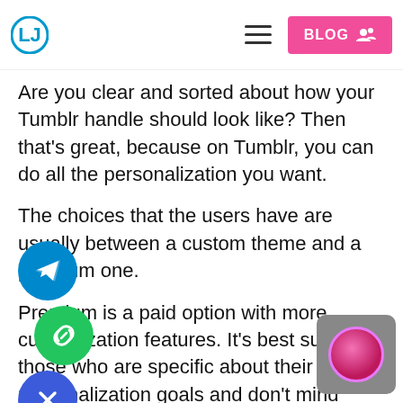BLOG
Are you clear and sorted about how your Tumblr handle should look like? Then that's great, because on Tumblr, you can do all the personalization you want.
The choices that the users have are usually between a custom theme and a premium one.
Premium is a paid option with more customization features. It's best suited for those who are specific about their personalization goals and don't mind paying for it.
If you don't want to pay for a premium theme, don't get bogged down because the free customization options are great too.
To change your theme, go to your Username. There you will see "Identity". Know...